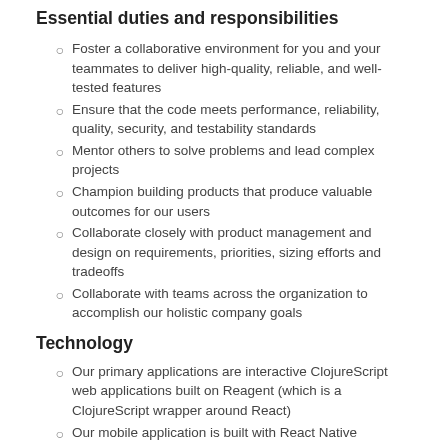Essential duties and responsibilities
Foster a collaborative environment for you and your teammates to deliver high-quality, reliable, and well-tested features
Ensure that the code meets performance, reliability, quality, security, and testability standards
Mentor others to solve problems and lead complex projects
Champion building products that produce valuable outcomes for our users
Collaborate closely with product management and design on requirements, priorities, sizing efforts and tradeoffs
Collaborate with teams across the organization to accomplish our holistic company goals
Technology
Our primary applications are interactive ClojureScript web applications built on Reagent (which is a ClojureScript wrapper around React)
Our mobile application is built with React Native